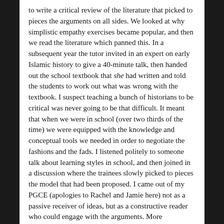to write a critical review of the literature that picked to pieces the arguments on all sides. We looked at why simplistic empathy exercises became popular, and then we read the literature which panned this. In a subsequent year the tutor invited in an expert on early Islamic history to give a 40-minute talk, then handed out the school textbook that she had written and told the students to work out what was wrong with the textbook. I suspect teaching a bunch of historians to be critical was never going to be that difficult. It meant that when we were in school (over two thirds of the time) we were equipped with the knowledge and conceptual tools we needed in order to negotiate the fashions and the fads. I listened politely to someone talk about learning styles in school, and then joined in a discussion where the trainees slowly picked to pieces the model that had been proposed. I came out of my PGCE (apologies to Rachel and Jamie here) not as a passive receiver of ideas, but as a constructive reader who could engage with the arguments. More